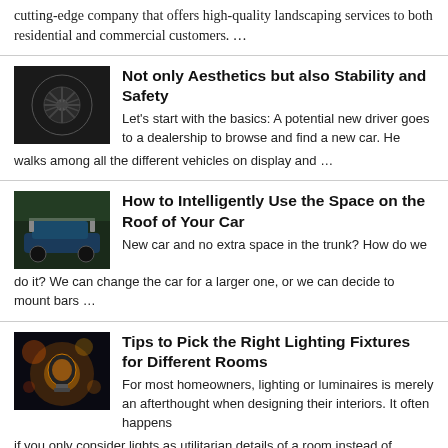cutting-edge company that offers high-quality landscaping services to both residential and commercial customers. …
Not only Aesthetics but also Stability and Safety
Let's start with the basics: A potential new driver goes to a dealership to browse and find a new car. He walks among all the different vehicles on display and …
How to Intelligently Use the Space on the Roof of Your Car
New car and no extra space in the trunk? How do we do it? We can change the car for a larger one, or we can decide to mount bars …
Tips to Pick the Right Lighting Fixtures for Different Rooms
For most homeowners, lighting or luminaires is merely an afterthought when designing their interiors. It often happens if you only consider lights as utilitarian details of a room instead of …